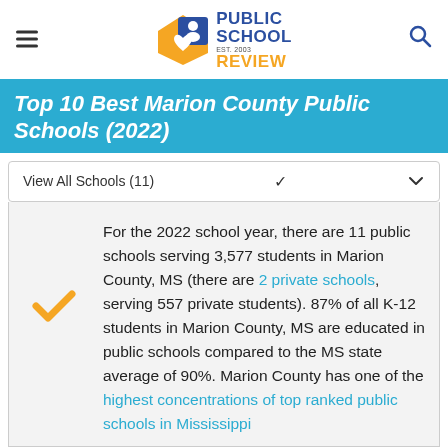Public School Review — Est. 2003
Top 10 Best Marion County Public Schools (2022)
View All Schools (11)
For the 2022 school year, there are 11 public schools serving 3,577 students in Marion County, MS (there are 2 private schools, serving 557 private students). 87% of all K-12 students in Marion County, MS are educated in public schools compared to the MS state average of 90%. Marion County has one of the highest concentrations of top ranked public schools in Mississippi